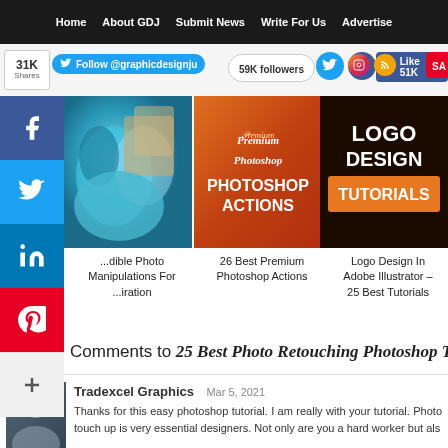Home  About GDJ  Submit News  Write For Us  Advertise
[Figure (screenshot): Social sharing bar with Twitter Follow @graphicdesignju, 59K followers, Like 51K, SA(ve) buttons]
[Figure (screenshot): Left sidebar social share buttons: Facebook, Twitter, LinkedIn, Pinterest, Plus]
[Figure (illustration): Article thumbnail: blue resin/stone photo]
...dible Photo Manipulations For ...iration
[Figure (illustration): Article thumbnail: Premium Photoshop Actions orange promo image]
26 Best Premium Photoshop Actions
[Figure (illustration): Article thumbnail: Logo Design In Adobe Illustrator – 25 Best Tutorials]
Logo Design In Adobe Illustrator – 25 Best Tutorials
Comments to 25 Best Photo Retouching Photoshop Tu...
Tradexcel Graphics  Mar 5, 2021
Thanks for this easy photoshop tutorial. I am really with your tutorial. Photo touch up is very essential designers. Not only are you a hard worker but als